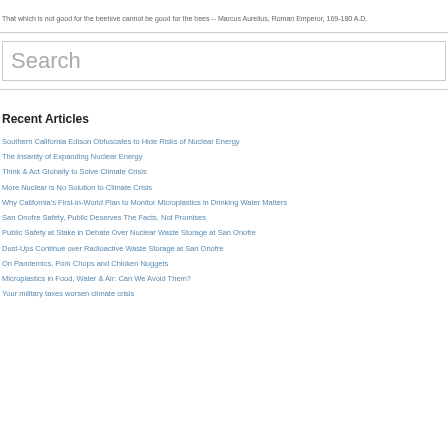That which is not good for the beehive cannot be good for the bees -- Marcus Aurelius, Roman Emperor, 169-180 A.D.
[Figure (other): Search input box with placeholder text 'Search']
Recent Articles
Southern California Edison Obfuscates to Hide Risks of Nuclear Energy
The Insanity of Expanding Nuclear Energy
Think & Act Globally to Solve Climate Crisis
More Nuclear is No Solution to Climate Crisis
Why California's First-in-World Plan to Monitor Microplastics in Drinking Water Matters
San Onofre Safety, Public Deserves The Facts, Not Promises
Public Safety at Stake in Debate Over Nuclear Waste Storage at San Onofre
Dust-Ups Continue over Radioactive Waste Storage at San Onofre
On Pandemics, Pork Chops and Chicken Nuggets
Microplastics in Food, Water & Air: Can We Avoid Them?
Your military taxes worsen climate crisis